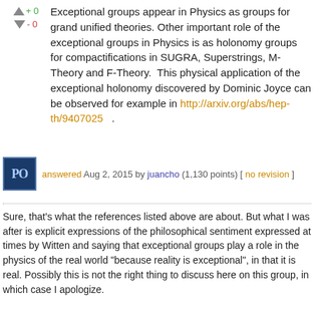Exceptional groups appear in Physics as groups for grand unified theories. Other important role of the exceptional groups in Physics is as holonomy groups for compactifications in SUGRA, Superstrings, M-Theory and F-Theory.  This physical application of the exceptional holonomy discovered by Dominic Joyce can be observed for example in http://arxiv.org/abs/hep-th/9407025 .
answered Aug 2, 2015 by juancho (1,130 points) [ no revision ]
Sure, that's what the references listed above are about. But what I was after is explicit expressions of the philosophical sentiment expressed at times by Witten and saying that exceptional groups play a role in the physics of the real world "because reality is exceptional", in that it is real. Possibly this is not the right thing to discuss here on this group, in which case I apologize.